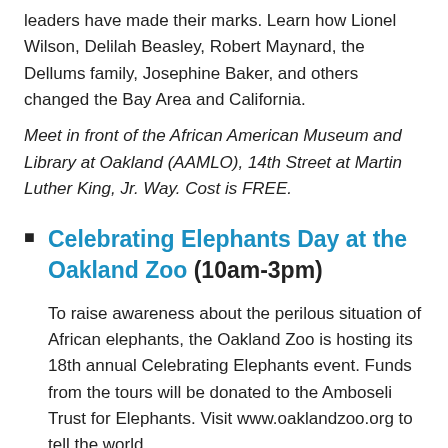leaders have made their marks. Learn how Lionel Wilson, Delilah Beasley, Robert Maynard, the Dellums family, Josephine Baker, and others changed the Bay Area and California.
Meet in front of the African American Museum and Library at Oakland (AAMLO), 14th Street at Martin Luther King, Jr. Way. Cost is FREE.
Celebrating Elephants Day at the Oakland Zoo (10am-3pm)
To raise awareness about the perilous situation of African elephants, the Oakland Zoo is hosting its 18th annual Celebrating Elephants event. Funds from the tours will be donated to the Amboseli Trust for Elephants. Visit www.oaklandzoo.org to tell the world...